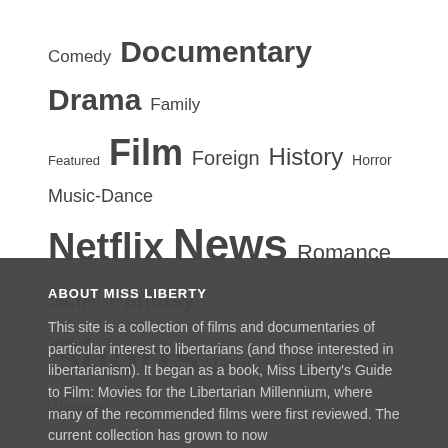Comedy Documentary Drama Family Featured Film Foreign History Horror Music-Dance Netflix News Romance SciFi-Fantasy Shorts Thriller Upcoming Western
ABOUT MISS LIBERTY
This site is a collection of films and documentaries of particular interest to libertarians (and those interested in libertarianism). It began as a book, Miss Liberty's Guide to Film: Movies for the Libertarian Millennium, where many of the recommended films were first reviewed. The current collection has grown to now